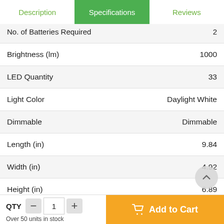Description | Specifications | Reviews
| Specification | Value |
| --- | --- |
| No. of Batteries Required | 2 |
| Brightness (lm) | 1000 |
| LED Quantity | 33 |
| Light Color | Daylight White |
| Dimmable | Dimmable |
| Length (in) | 9.84 |
| Width (in) | 4.92 |
| Height (in) | 6.89 |
| Net Weight (lb) | 1.87 |
| Material | ABS |
| Included Components | Batteries included |
QTY  1   Over 50 units in stock
Add to Cart